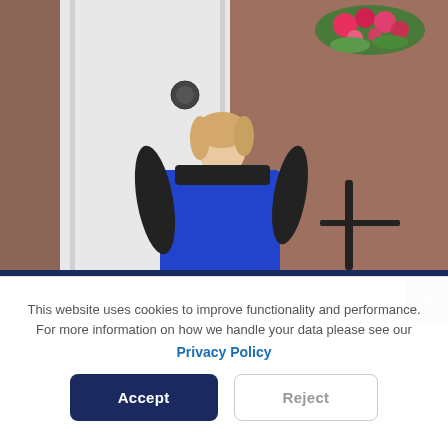[Figure (photo): A woman with blonde hair wearing a blue dress and black cardigan, standing in front of a white door of a brick building with a hanging basket of pink and red flowers.]
This website uses cookies to improve functionality and performance. For more information on how we handle your data please see our
Privacy Policy
Accept
Reject